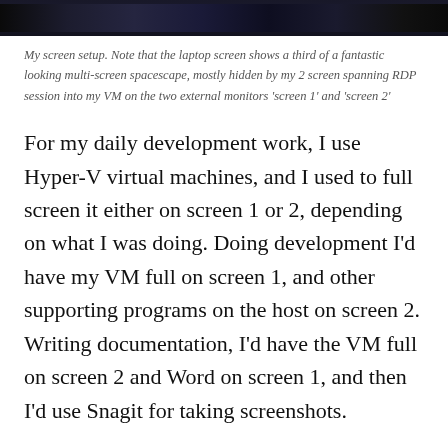[Figure (photo): Top portion of a screen setup photo showing multiple monitors with dark backgrounds]
My screen setup. Note that the laptop screen shows a third of a fantastic looking multi-screen spacescape, mostly hidden by my 2 screen spanning RDP session into my VM on the two external monitors ‘screen 1’ and ‘screen 2’
For my daily development work, I use Hyper-V virtual machines, and I used to full screen it either on screen 1 or 2, depending on what I was doing. Doing development I’d have my VM full on screen 1, and other supporting programs on the host on screen 2. Writing documentation, I’d have the VM full on screen 2 and Word on screen 1, and then I’d use Snagit for taking screenshots.
When I started including documentation (in